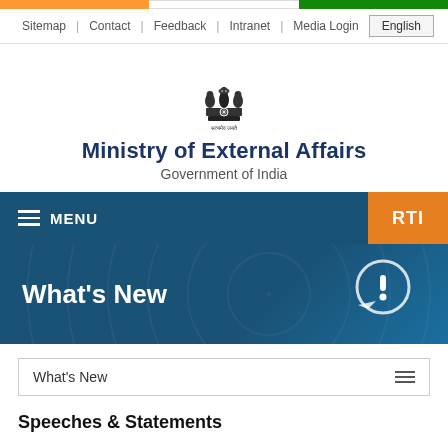Sitemap | Contact | Feedback | Intranet | Media Login | English
[Figure (logo): Ashoka Emblem (Satyamev Jayate) - Government of India national emblem in black and white]
Ministry of External Affairs
Government of India
MENU
RTI
What's New
What's New
Speeches & Statements